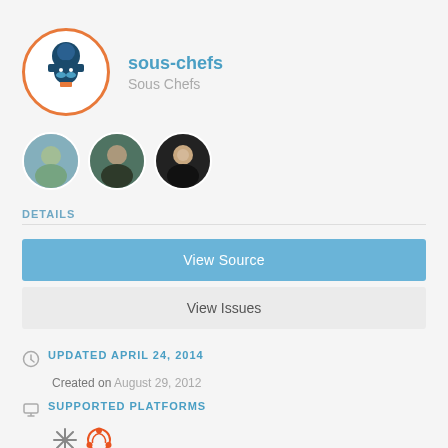[Figure (logo): Sous-chefs organization logo: chef with mustache inside orange circle, navy blue tones]
sous-chefs
Sous Chefs
[Figure (photo): Three circular avatar photos of organization members]
DETAILS
View Source
View Issues
UPDATED APRIL 24, 2014
Created on August 29, 2012
SUPPORTED PLATFORMS
[Figure (illustration): Two platform icons: snowflake/asterisk (NixOS) and Ubuntu circle logo]
LICENSE